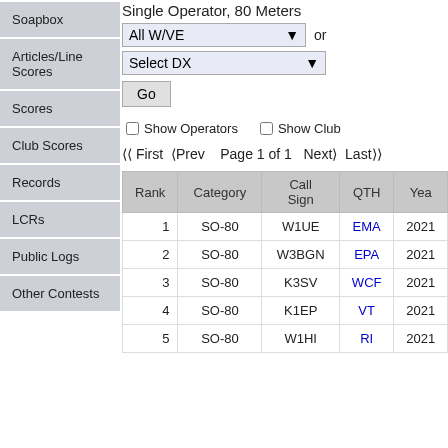Single Operator, 80 Meters
Soapbox
Articles/Line Scores
Scores
Club Scores
Records
LCRs
Public Logs
Other Contests
Show Operators  Show Club
First  Prev  Page 1 of 1  Next  Last
| Rank | Category | Call Sign | QTH | Year |
| --- | --- | --- | --- | --- |
| 1 | SO-80 | W1UE | EMA | 2021 |
| 2 | SO-80 | W3BGN | EPA | 2021 |
| 3 | SO-80 | K3SV | WCF | 2021 |
| 4 | SO-80 | K1EP | VT | 2021 |
| 5 | SO-80 | W1HI | RI | 2021 |